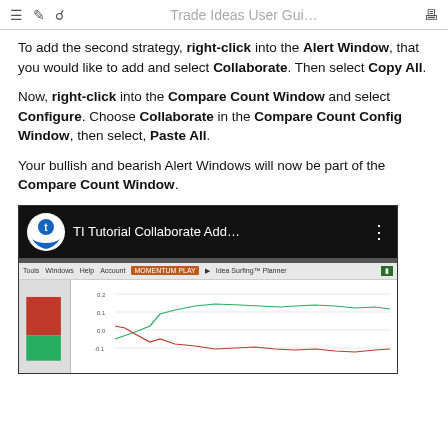Trade Ideas User Gui...
To add the second strategy, right-click into the Alert Window, that you would like to add and select Collaborate. Then select Copy All.
Now, right-click into the Compare Count Window and select Configure. Choose Collaborate in the Compare Count Config Window, then select, Paste All.
Your bullish and bearish Alert Windows will now be part of the Compare Count Window.
[Figure (screenshot): YouTube-style video thumbnail showing 'TI Tutorial Collaborate Add...' with Trade Ideas logo and a screenshot of the Trade Ideas software showing a chart with red and green lines]